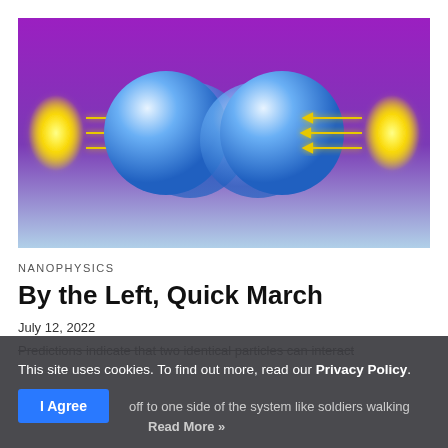[Figure (illustration): Two groups of overlapping blue spheres facing each other on a purple-to-light-blue gradient background, with yellow glowing ellipses on each outer side and yellow arrows pointing inward between the yellow ellipses and the blue spheres.]
NANOPHYSICS
By the Left, Quick March
July 12, 2022
Predictions indicate that two identical particles can interact
This site uses cookies. To find out more, read our Privacy Policy.
off to one side of the system like soldiers walking
Read More »